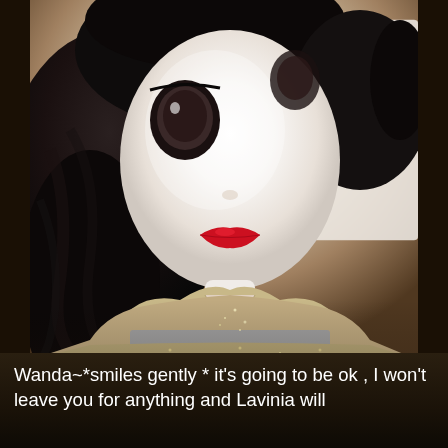[Figure (photo): Close-up photo of a doll (Pullip or similar collector doll) with black hair, large dark eyes, pale white porcelain-like face, red lips, wearing a gold/beige v-neck knit dress with glittery skirt and gray waistband. A white lace or knit fabric is visible in the background to the right.]
Wanda~*smiles gently * it's going to be ok , I won't leave you for anything and Lavinia will